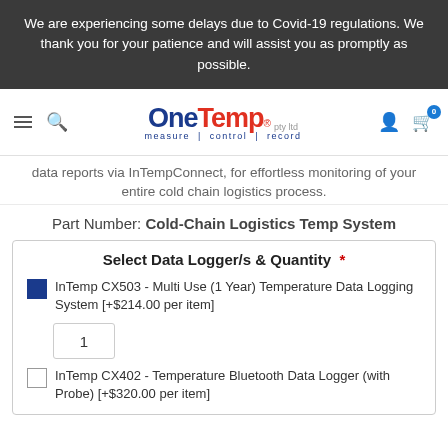We are experiencing some delays due to Covid-19 regulations. We thank you for your patience and will assist you as promptly as possible.
[Figure (logo): OneTemp pty ltd logo with tagline 'measure | control | record']
data reports via InTempConnect, for effortless monitoring of your entire cold chain logistics process.
Part Number: Cold-Chain Logistics Temp System
Select Data Logger/s & Quantity *
InTemp CX503 - Multi Use (1 Year) Temperature Data Logging System [+$214.00 per item]
1
InTemp CX402 - Temperature Bluetooth Data Logger (with Probe) [+$320.00 per item]